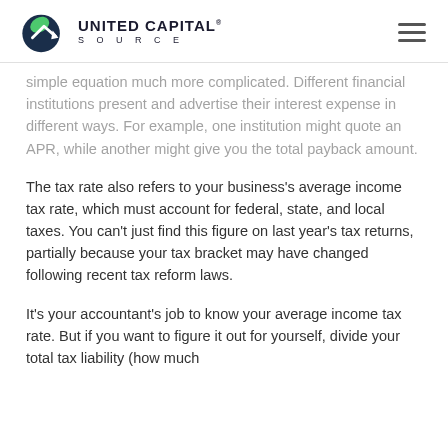UNITED CAPITAL SOURCE
simple equation much more complicated. Different financial institutions present and advertise their interest expense in different ways. For example, one institution might quote an APR, while another might give you the total payback amount.
The tax rate also refers to your business's average income tax rate, which must account for federal, state, and local taxes. You can't just find this figure on last year's tax returns, partially because your tax bracket may have changed following recent tax reform laws.
It's your accountant's job to know your average income tax rate. But if you want to figure it out for yourself, divide your total tax liability (how much